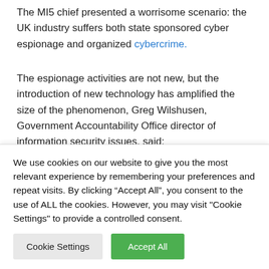The MI5 chief presented a worrisome scenario: the UK industry suffers both state sponsored cyber espionage and organized cybercrime.
The espionage activities are not new, but the introduction of new technology has amplified the size of the phenomenon, Greg Wilshusen, Government Accountability Office director of information security issues, said:
“
“use of cyberspace have vastly
We use cookies on our website to give you the most relevant experience by remembering your preferences and repeat visits. By clicking “Accept All”, you consent to the use of ALL the cookies. However, you may visit "Cookie Settings" to provide a controlled consent.